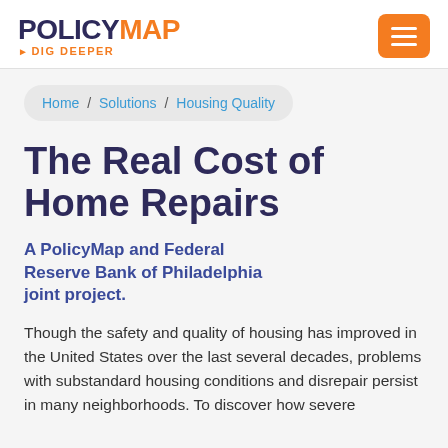POLICYMAP ▸DIG DEEPER
Home / Solutions / Housing Quality
The Real Cost of Home Repairs
A PolicyMap and Federal Reserve Bank of Philadelphia joint project.
Though the safety and quality of housing has improved in the United States over the last several decades, problems with substandard housing conditions and disrepair persist in many neighborhoods. To discover how severe